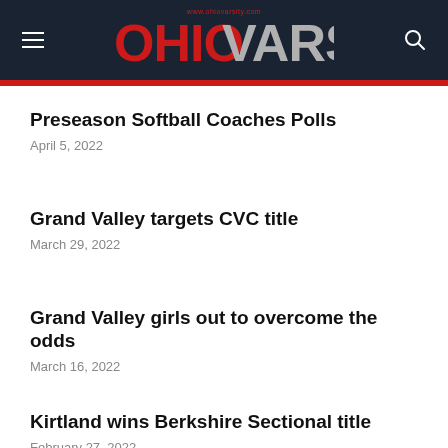OHIO VARSITY — www.ohiovarsity.com
Preseason Softball Coaches Polls
April 5, 2022
Grand Valley targets CVC title
March 29, 2022
Grand Valley girls out to overcome the odds
March 16, 2022
Kirtland wins Berkshire Sectional title
February 27, 2022